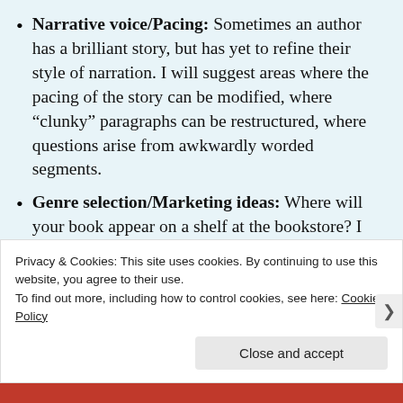Narrative voice/Pacing: Sometimes an author has a brilliant story, but has yet to refine their style of narration. I will suggest areas where the pacing of the story can be modified, where "clunky" paragraphs can be restructured, where questions arise from awkwardly worded segments.
Genre selection/Marketing ideas: Where will your book appear on a shelf at the bookstore? I will help you assign a genre and audience for your book to the market niche with the most appeal. I can also share ideas that have worked for me personally, as well as ideas I know have worked for others.
Privacy & Cookies: This site uses cookies. By continuing to use this website, you agree to their use.
To find out more, including how to control cookies, see here: Cookie Policy
Close and accept